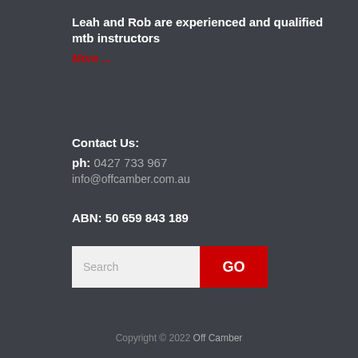Leah and Rob are experienced and qualified mtb instructors
More ...
Contact Us:
ph: 0427 733 967
info@offcamber.com.au
ABN: 50 659 843 189
[Figure (other): Search input field with placeholder 'Search' and a red GO button]
Copyright © 2022 Off Camber